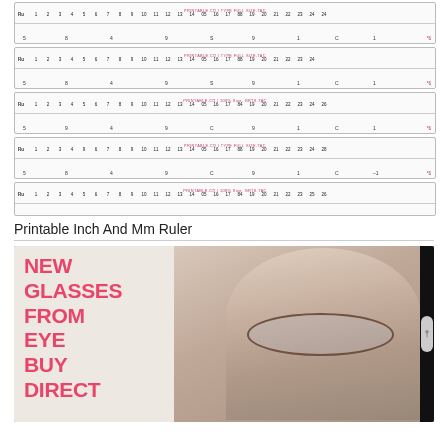[Figure (illustration): Five printable inch and mm ruler strips shown stacked vertically, each with numbered tick marks and center text labels in pink/red]
Printable Inch And Mm Ruler
[Figure (photo): Advertisement image with black background showing text 'NEW GLASSES FROM EYE BUY DIRECT' in large pink/coral letters on left, and a woman wearing round glasses on the right side]